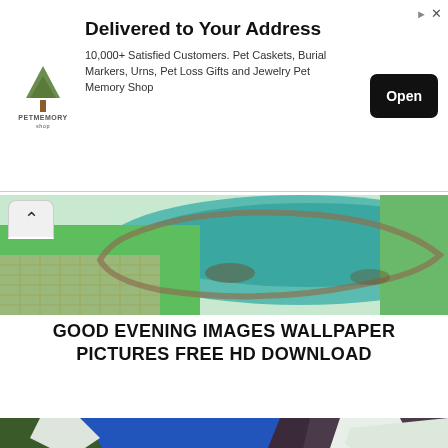[Figure (infographic): Advertisement banner for a pet memorial shop. Logo of a tree with 'PETMEMORY' text. Headline: 'Delivered to Your Address'. Body: '10,000+ Satisfied Customers. Pet Caskets, Burial Markers, Urns, Pet Loss Gifts and Jewelry Pet Memory Shop'. Black 'Open' button on right. Ad icons (arrow and X) in top right corner.]
[Figure (photo): Landscape photo strip showing a decorative pond or pool with green grass and stone edging, viewed from above at an angle. Teal/aqua water visible.]
GOOD EVENING IMAGES WALLPAPER PICTURES FREE HD DOWNLOAD
[Figure (photo): Mountain landscape photo with a bright blue sky, snow-capped mountain peaks, green valley, and bold red text overlay reading 'Good Evening'.]